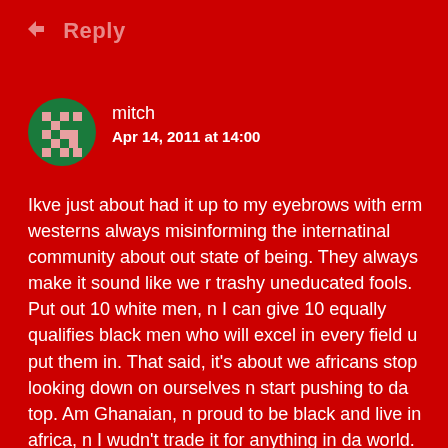Reply
[Figure (illustration): Pixelated avatar icon with green and pink checkerboard pattern representing user 'mitch']
mitch
Apr 14, 2011 at 14:00
Ikve just about had it up to my eyebrows with erm westerns always misinforming the internatinal community about out state of being. They always make it sound like we r trashy uneducated fools. Put out 10 white men, n I can give 10 equally qualifies black men who will excel in every field u put them in. That said, it's about we africans stop looking down on ourselves n start pushing to da top. Am Ghanaian, n proud to be black and live in africa, n I wudn't trade it for anything in da world. Sakawa or water selling I don't care. We the best n it time we start believing n acting like that. Thanx kobby, this was a true eye